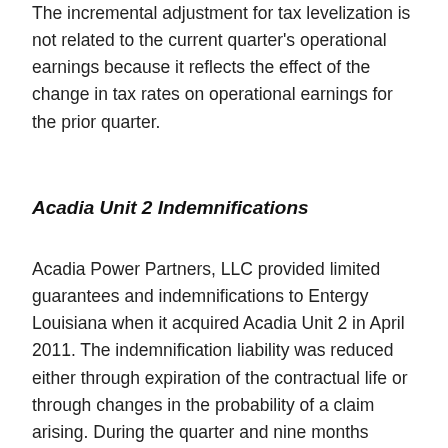The incremental adjustment for tax levelization is not related to the current quarter's operational earnings because it reflects the effect of the change in tax rates on operational earnings for the prior quarter.
Acadia Unit 2 Indemnifications
Acadia Power Partners, LLC provided limited guarantees and indemnifications to Entergy Louisiana when it acquired Acadia Unit 2 in April 2011. The indemnification liability was reduced either through expiration of the contractual life or through changes in the probability of a claim arising. During the quarter and nine months ended